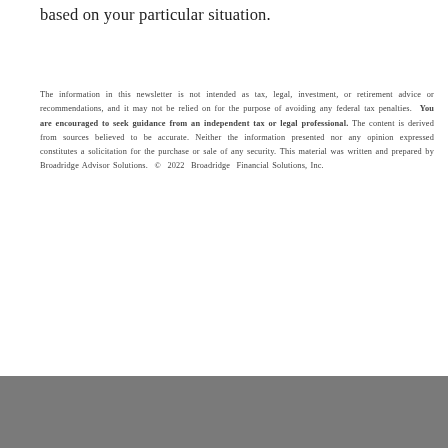based on your particular situation.
The information in this newsletter is not intended as tax, legal, investment, or retirement advice or recommendations, and it may not be relied on for the purpose of avoiding any federal tax penalties. You are encouraged to seek guidance from an independent tax or legal professional. The content is derived from sources believed to be accurate. Neither the information presented nor any opinion expressed constitutes a solicitation for the purchase or sale of any security. This material was written and prepared by Broadridge Advisor Solutions. © 2022 Broadridge Financial Solutions, Inc.